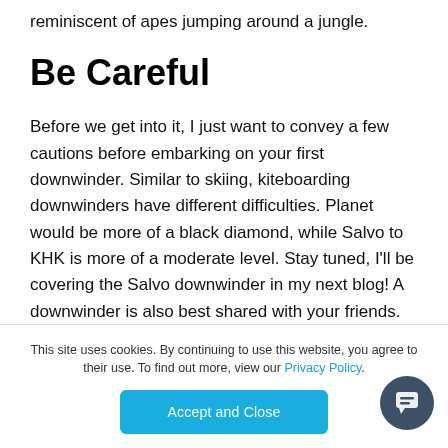reminiscent of apes jumping around a jungle.
Be Careful
Before we get into it, I just want to convey a few cautions before embarking on your first downwinder. Similar to skiing, kiteboarding downwinders have different difficulties. Planet would be more of a black diamond, while Salvo to KHK is more of a moderate level. Stay tuned, I'll be covering the Salvo downwinder in my next blog! A downwinder is also best shared with your friends. You always want a
This site uses cookies. By continuing to use this website, you agree to their use. To find out more, view our Privacy Policy.
Accept and Close